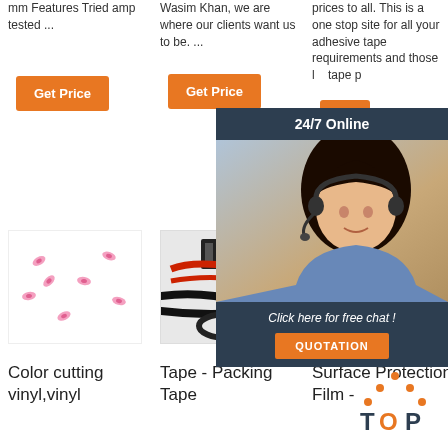mm Features Tried amp tested ...
Wasim Khan, we are where our clients want us to be. ...
prices to all. This is a one stop site for all your adhesive tape requirements and those looking for tape pr...
Get Price
Get Price
Get
[Figure (photo): Pink wire connectors/terminals arranged in a scattered pattern on white background]
[Figure (photo): Red and black cables/wires with connectors and black cable ties]
[Figure (photo): HP logo with red-tipped product visible]
Color cutting vinyl,vinyl
Tape - Packing Tape
Surface Protection Film -
[Figure (infographic): 24/7 Online chat widget with agent photo, dark navy background, orange QUOTATION button, and TOP icon]
24/7 Online
Click here for free chat !
QUOTATION